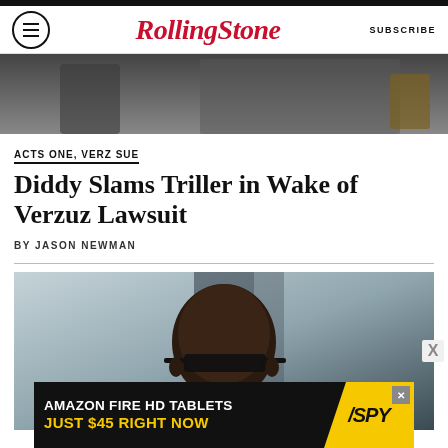Rolling Stone — SUBSCRIBE
[Figure (photo): Top partial photo — dark clothing, blurred background]
ACTS ONE, VERZ SUE
Diddy Slams Triller in Wake of Verzuz Lawsuit
BY JASON NEWMAN
[Figure (photo): Man wearing sunglasses, close-up portrait, light blue background]
[Figure (infographic): Advertisement: AMAZON FIRE HD TABLETS JUST $45 RIGHT NOW — SPY]